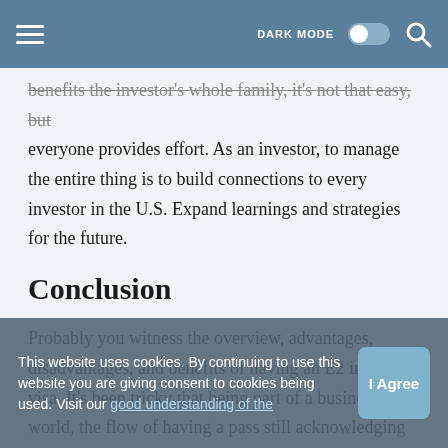DARK MODE [toggle] [search]
benefits the investor's whole family, it's not that easy, but everyone provides effort. As an investor, to manage the entire thing is to build connections to every investor in the U.S. Expand learnings and strategies for the future.
Conclusion
Probably you witness the overview, advantages, disadvantages, and benefits of having an E2 investor visa. It's been tricky that being part of a business world, the flow of having a pass still acknowledging and going in the same process of people applying for a visa but in another country. As mentioned above, you should have a good understanding of the most critical aspects of the E2 visa. It is more appealing for foreign
This website uses cookies. By continuing to use this website you are giving consent to cookies being used. Visit our good understanding of the